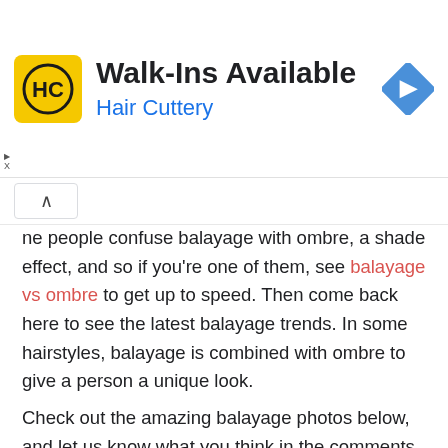[Figure (logo): Hair Cuttery advertisement banner with HC logo, text 'Walk-Ins Available' and 'Hair Cuttery', and a blue navigation arrow icon]
ne people confuse balayage with ombre, a shade effect, and so if you're one of them, see balayage vs ombre to get up to speed. Then come back here to see the latest balayage trends. In some hairstyles, balayage is combined with ombre to give a person a unique look.
Check out the amazing balayage photos below, and let us know what you think in the comments.
Best Balayage Hairstyles for Straight Hair